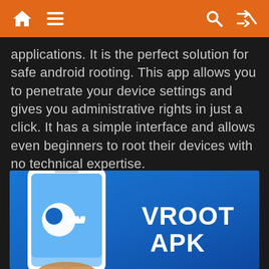Navigation bar with home, menu, search, and shuffle icons
applications. It is the perfect solution for safe android rooting. This app allows you to penetrate your device settings and gives you administrative rights in just a click. It has a simple interface and allows even beginners to root their devices with no technical expertise.
[Figure (illustration): Blue background image showing a hand holding a white Android smartphone with a key icon on screen, and bold white text 'VROOT APK' on the right side]